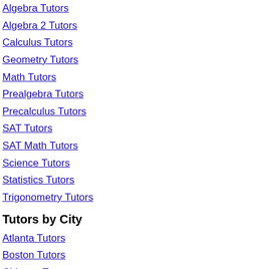Algebra Tutors
Algebra 2 Tutors
Calculus Tutors
Geometry Tutors
Math Tutors
Prealgebra Tutors
Precalculus Tutors
SAT Tutors
SAT Math Tutors
Science Tutors
Statistics Tutors
Trigonometry Tutors
Tutors by City
Atlanta Tutors
Boston Tutors
Chicago Tutors
Dallas Tutors
Denver Tutors
Houston Tutors
Los Angeles Tutors
Miami Tutors
Minneapolis Tutors
New York City Tutors